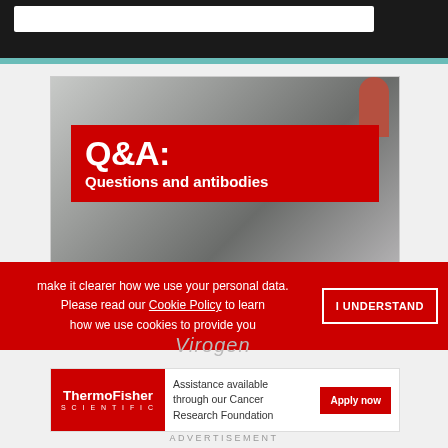[Figure (screenshot): Q&A: Questions and antibodies – promotional card image showing a lab background with a red overlay banner]
Get the answers you need
make it clearer how we use your personal data.
Please read our Cookie Policy to learn how we use cookies to provide you
I UNDERSTAND
Virogen
[Figure (logo): Thermo Fisher Scientific advertisement banner – Assistance available through our Cancer Research Foundation – Apply now]
ADVERTISEMENT